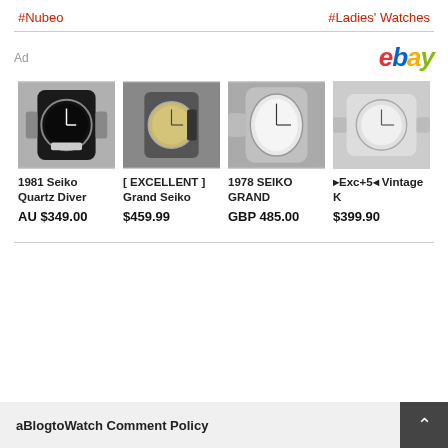#Nubeo    #Ladies' Watches
[Figure (infographic): eBay advertisement banner showing 4 watch listings: 1981 Seiko Quartz Diver AU $349.00, [ EXCELLENT ] Grand Seiko $459.99, 1978 SEIKO GRAND GBP 485.00, Exc+5 Vintage K $399.90]
aBlogtoWatch Comment Policy